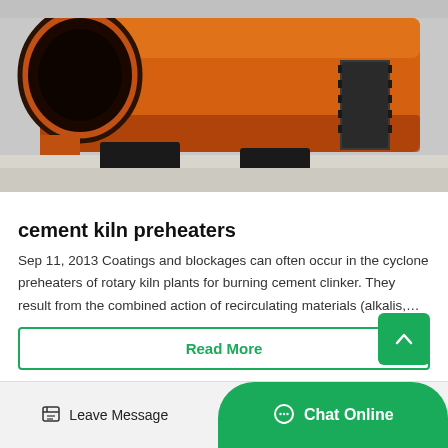[Figure (photo): Large orange rotary cement kiln with circular opening at left end, mounted on black supports, photographed in an industrial facility with concrete floor]
cement kiln preheaters
Sep 11, 2013 Coatings and blockages can often occur in the cyclone preheaters of rotary kiln plants for burning cement clinker. They result from the combined action of recirculating materials (alkalis,…
Read More
Leave Message
Chat Online